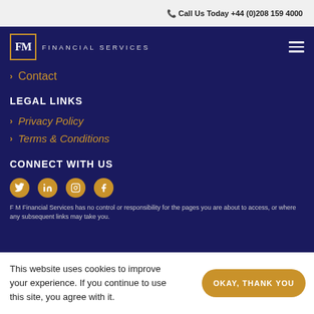Call Us Today +44 (0)208 159 4000
[Figure (logo): FM Financial Services logo with gold-bordered box and navigation bar with hamburger menu]
> Contact
LEGAL LINKS
> Privacy Policy
> Terms & Conditions
CONNECT WITH US
[Figure (illustration): Social media icons: Twitter, LinkedIn, Instagram, Facebook]
F M Financial Services has no control or responsibility for the pages you are about to access, or where any subsequent links may take you.
This website uses cookies to improve your experience. If you continue to use this site, you agree with it.
OKAY, THANK YOU